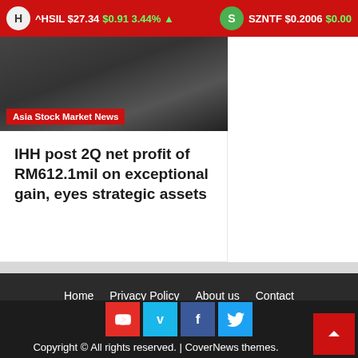^HSIL $27.34 $0.91 3.44% ▲  SZNTF $0.2006 $0.00
[Figure (photo): News article image with 'Asia Stock Market News' label overlay]
IHH post 2Q net profit of RM612.1mil on exceptional gain, eyes strategic assets
Home  Privacy Policy  About us  Contact
Copyright © All rights reserved. | CoverNews themes.